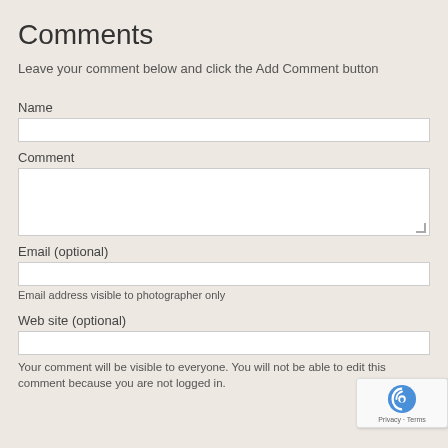Comments
Leave your comment below and click the Add Comment button
Name
Comment
Email (optional)
Email address visible to photographer only
Web site (optional)
Your comment will be visible to everyone. You will not be able to edit this comment because you are not logged in.